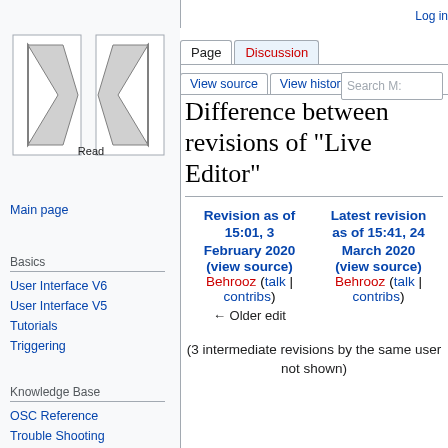Log in
[Figure (logo): MediaWiki-style logo with two triangular arrow shapes forming an X pattern, black and white geometric design]
Main page
Basics
User Interface V6
User Interface V5
Tutorials
Triggering
Knowledge Base
OSC Reference
Trouble Shooting
Usage Tips
Performance
Difference between revisions of "Live Editor"
| Revision as of 15:01, 3 February 2020 | Latest revision as of 15:41, 24 March 2020 |
| --- | --- |
| (view source) | (view source) |
| Behrooz (talk | contribs) | Behrooz (talk | contribs) |
| ← Older edit |  |
(3 intermediate revisions by the same user not shown)